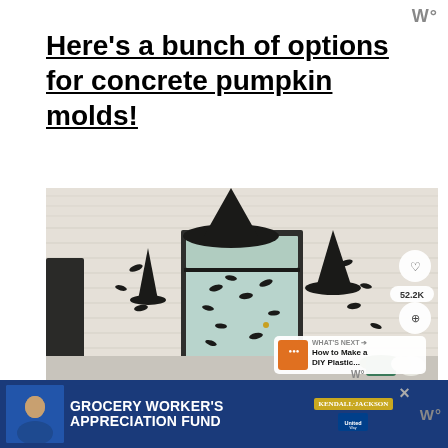W°
Here's a bunch of options for concrete pumpkin molds!
[Figure (photo): Halloween-decorated front porch with witch hats hanging from the ceiling, bat silhouettes on a light-colored door and exterior wall, wall-mounted lanterns with witch hats, potted plants, and white pumpkins on the ground. Overlays include a heart/save button, 52.2K save count, share button, and a 'What's Next' panel showing 'How to Make a DIY Plastic...']
[Figure (infographic): Advertisement bar: Grocery Worker's Appreciation Fund, showing Kendall Jackson and United Way logos, with a close button]